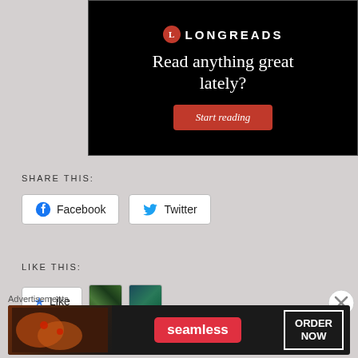[Figure (screenshot): Longreads promotional banner ad on black background. Shows Longreads logo at top, text 'Read anything great lately?' and a red 'Start reading' button.]
SHARE THIS:
[Figure (screenshot): Facebook and Twitter share buttons with logos]
LIKE THIS:
[Figure (screenshot): Like button widget with star icon and two user avatar thumbnails]
Advertisements
[Figure (screenshot): Seamless food delivery advertisement banner showing pizza and 'ORDER NOW' button]